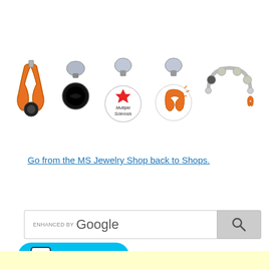[Figure (photo): Multiple sclerosis awareness jewelry items: orange ribbon pin, round black charm with clasp, circular MS medical charm with red star and 'Multiple Sclerosis' text, circular orange ribbon charm, and a beaded bracelet with small orange ribbon charm]
Go from the MS Jewelry Shop back to Shops.
[Figure (screenshot): Google search bar with 'ENHANCED BY Google' label and search icon button]
[Figure (screenshot): Teal/cyan 'Support me' button with a coffee cup icon on white background]